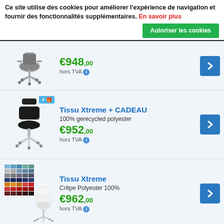Ce site utilise des cookies pour améliorer l'expérience de navigation et fournir des fonctionnalités supplémentaires. En savoir plus
Autoriser les cookies
[Figure (photo): Office chair product photo]
€948,00 hors TVA
[Figure (photo): Saddle chair with gift badge and headrest]
Tissu Xtreme + CADEAU
100% gerecycled polyester
€952,00 hors TVA
[Figure (photo): Color swatches grid and white chair product photo]
Tissu Xtreme
Crêpe Polyester 100%
€962,00 hors TVA